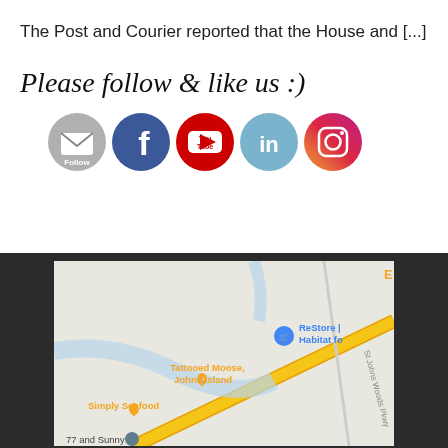The Post and Courier reported that the House and [...]
Please follow & like us :)
[Figure (illustration): Social media icons row: Follow (email), Facebook, YouTube, LinkedIn, Instagram]
[Figure (map): Google Maps showing Johns Island area with markers for Tattooed Moose Johns Island, ReStore Habitat fo(r Humanity), Simply Seafood, 77 and Sunny, and St Johns Woods Pkwy road]